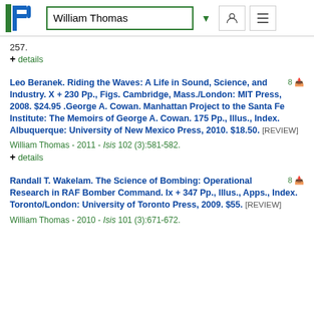William Thomas
257.
+ details
Leo Beranek. Riding the Waves: A Life in Sound, Science, and Industry. X + 230 Pp., Figs. Cambridge, Mass./London: MIT Press, 2008. $24.95 .George A. Cowan. Manhattan Project to the Santa Fe Institute: The Memoirs of George A. Cowan. 175 Pp., Illus., Index. Albuquerque: University of New Mexico Press, 2010. $18.50. [REVIEW]
William Thomas - 2011 - Isis 102 (3):581-582.
+ details
Randall T. Wakelam. The Science of Bombing: Operational Research in RAF Bomber Command. Ix + 347 Pp., Illus., Apps., Index. Toronto/London: University of Toronto Press, 2009. $55. [REVIEW]
William Thomas - 2010 - Isis 101 (3):671-672.